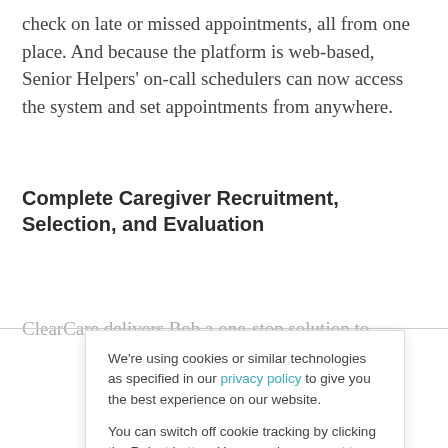check on late or missed appointments, all from one place. And because the platform is web-based, Senior Helpers' on-call schedulers can now access the system and set appointments from anywhere.
Complete Caregiver Recruitment, Selection, and Evaluation
ClearCare delivers Bob a one-stop solution to
We're using cookies or similar technologies as specified in our privacy policy to give you the best experience on our website.

You can switch off cookie tracking by clicking the Reject button. You can also consent to the use of such technologies by clicking the Accept button.